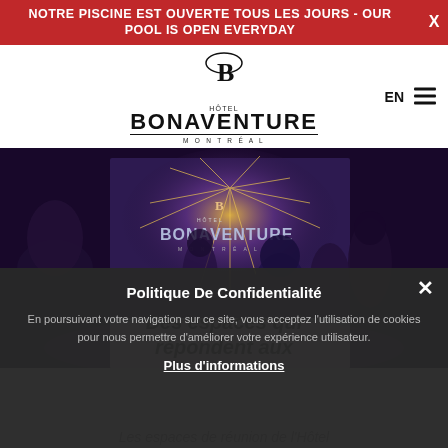NOTRE PISCINE EST OUVERTE TOUS LES JOURS - OUR POOL IS OPEN EVERYDAY
[Figure (logo): Hôtel Bonaventure Montréal logo with stylized B and text]
EN
[Figure (photo): Event photo showing people at a conference/event with Bonaventure hotel branding projected on screen]
Des espaces qui répondent aux
Politique De Confidentialité
En poursuivant votre navigation sur ce site, vous acceptez l'utilisation de cookies pour nous permettre d'améliorer votre expérience utilisateur.
Plus d'informations
Les espaces de réunion de l'Hôtel